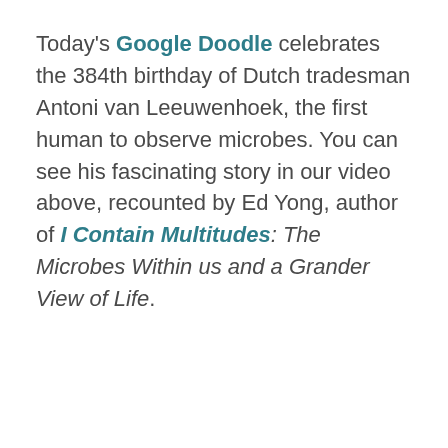Today's Google Doodle celebrates the 384th birthday of Dutch tradesman Antoni van Leeuwenhoek, the first human to observe microbes. You can see his fascinating story in our video above, recounted by Ed Yong, author of I Contain Multitudes: The Microbes Within us and a Grander View of Life.